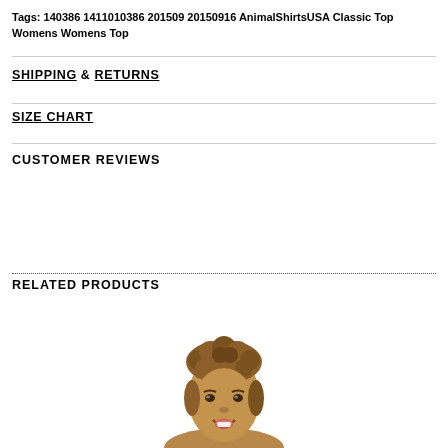Tags: 140386 1411010386 201509 20150916 AnimalShirtsUSA Classic Top Womens Womens Top
SHIPPING & RETURNS
SIZE CHART
CUSTOMER REVIEWS
RELATED PRODUCTS
[Figure (photo): Photo of a woman with short curly brown hair, cropped at the top of the page showing head and shoulders]